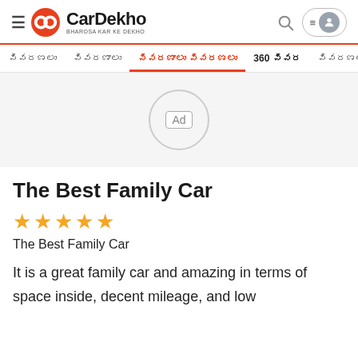CarDekho – BHAROSA KAR KE DEKHO
xxxxxxxx   xxxxxxxxxx   xxxxxxxxxxxxxxxxx xxxxxxxx   360 xxxxxx   xxxxxxxxxx
[Figure (other): Ad placeholder circle with Ad label]
The Best Family Car
★★★★★
The Best Family Car
It is a great family car and amazing in terms of space inside, decent mileage, and low